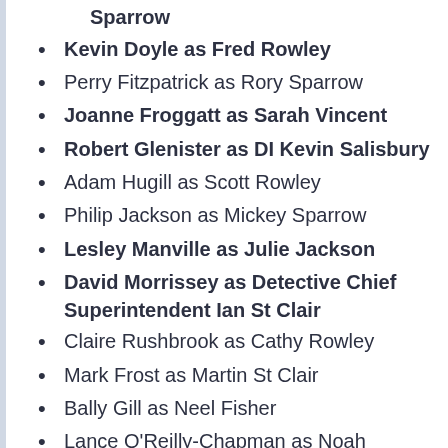Sparrow
Kevin Doyle as Fred Rowley
Perry Fitzpatrick as Rory Sparrow
Joanne Froggatt as Sarah Vincent
Robert Glenister as DI Kevin Salisbury
Adam Hugill as Scott Rowley
Philip Jackson as Mickey Sparrow
Lesley Manville as Julie Jackson
David Morrissey as Detective Chief Superintendent Ian St Clair
Claire Rushbrook as Cathy Rowley
Mark Frost as Martin St Clair
Bally Gill as Neel Fisher
Lance O'Reilly-Chapman as Noah Jackson
Clare Holman as Helen St Clair